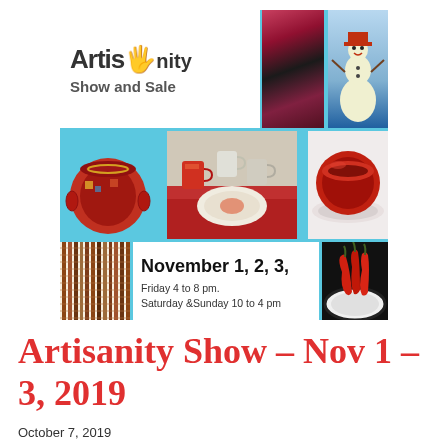[Figure (photo): Artisanity Show and Sale promotional poster with collage of craft items including quilts, ceramic bowls, mugs, peppers, and a snowman figurine, with event date November 1, 2, 3]
Artisanity Show – Nov 1 – 3, 2019
October 7, 2019